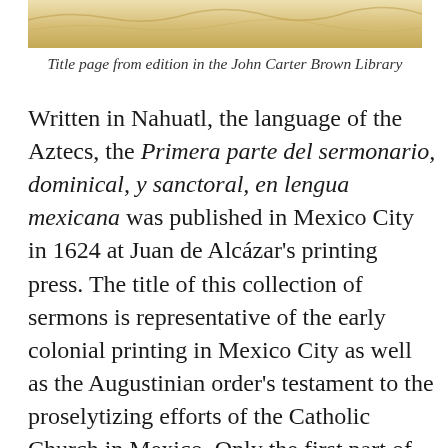[Figure (photo): Bottom portion of a title page from an edition in the John Carter Brown Library — aged yellowed paper or carved ivory surface]
Title page from edition in the John Carter Brown Library
Written in Nahuatl, the language of the Aztecs, the Primera parte del sermonario, dominical, y sanctoral, en lengua mexicana was published in Mexico City in 1624 at Juan de Alcázar's printing press. The title of this collection of sermons is representative of the early colonial printing in Mexico City as well as the Augustinian order's testament to the proselytizing efforts of the Catholic Church in Mexico. Only the first part of this Nahuatl text was ever published. Its author, Fr. Juan de Mijangos, is also well known for his Espejo Divino (1607).